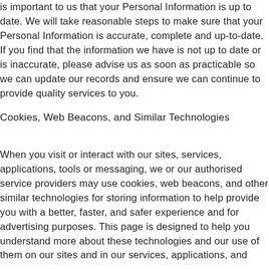is important to us that your Personal Information is up to date. We will take reasonable steps to make sure that your Personal Information is accurate, complete and up-to-date. If you find that the information we have is not up to date or is inaccurate, please advise us as soon as practicable so we can update our records and ensure we can continue to provide quality services to you.
Cookies, Web Beacons, and Similar Technologies
When you visit or interact with our sites, services, applications, tools or messaging, we or our authorised service providers may use cookies, web beacons, and other similar technologies for storing information to help provide you with a better, faster, and safer experience and for advertising purposes. This page is designed to help you understand more about these technologies and our use of them on our sites and in our services, applications, and